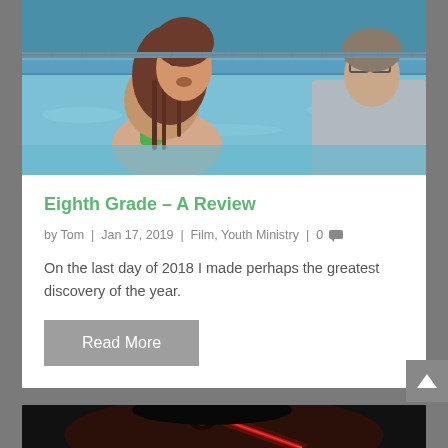[Figure (photo): Two people in a swimming pool. A girl in a green swimsuit with wet hair and a person in a gray shirt. Blue pool water visible.]
Eighth Grade – A Review
by Tom | Jan 17, 2019 | Film, Youth Ministry | 0
On the last day of 2018 I made perhaps the greatest discovery of the year.
Read More
[Figure (photo): Dark cinematic image showing a person's face lit by a red lightsaber. Star Wars style imagery.]